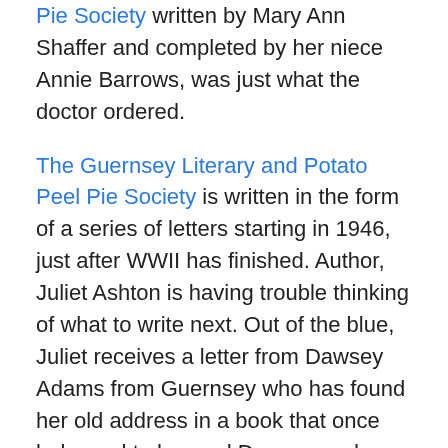Pie Society written by Mary Ann Shaffer and completed by her niece Annie Barrows, was just what the doctor ordered.
The Guernsey Literary and Potato Peel Pie Society is written in the form of a series of letters starting in 1946, just after WWII has finished. Author, Juliet Ashton is having trouble thinking of what to write next. Out of the blue, Juliet receives a letter from Dawsey Adams from Guernsey who has found her old address in a book that once belonged to her and Dawsey and Juliet begin to correspond. Details about the Guernsey islanders life during the German occupation are discovered and about a special society that was formed during that time – The Guernsey Literary and Potato Peel Society. As Juliet digs deeper into the origins of the society she writes and receives letters from an array of characters who between